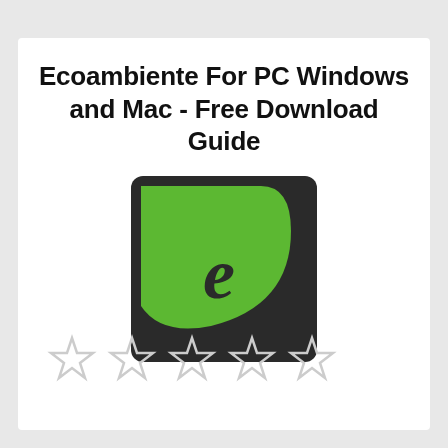Ecoambiente For PC Windows and Mac - Free Download Guide
[Figure (logo): Ecoambiente app logo: dark square with a green leaf/teardrop shape on the upper-left half and a lowercase italic 'e' in dark green at center]
[Figure (other): Five empty star rating icons in light grey]